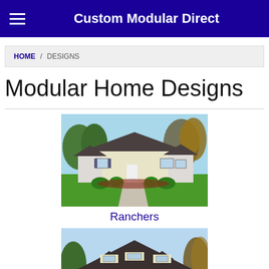Custom Modular Direct
HOME / DESIGNS
Modular Home Designs
[Figure (illustration): Rendering of a ranch-style modular home with light yellow siding, dark roof, attached garage-wing sections, green landscaping, driveway]
Ranchers
[Figure (illustration): Rendering of a cape cod / two-story modular home with three dormers, dark roof, yellow siding, partial view cropped at bottom]